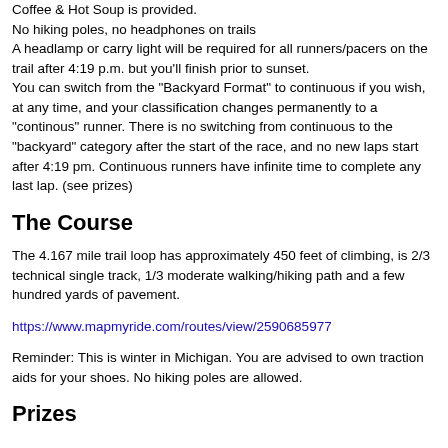Coffee & Hot Soup is provided.
No hiking poles, no headphones on trails
A headlamp or carry light will be required for all runners/pacers on the trail after 4:19 p.m. but you'll finish prior to sunset.
You can switch from the "Backyard Format" to continuous if you wish, at any time, and your classification changes permanently to a "continous" runner. There is no switching from continuous to the "backyard" category after the start of the race, and no new laps start after 4:19 pm. Continuous runners have infinite time to complete any last lap. (see prizes)
The Course
The 4.167 mile trail loop has approximately 450 feet of climbing, is 2/3 technical single track, 1/3 moderate walking/hiking path and a few hundred yards of pavement.
https://www.mapmyride.com/routes/view/2590685977
Reminder: This is winter in Michigan. You are advised to own traction aids for your shoes. No hiking poles are allowed.
Prizes